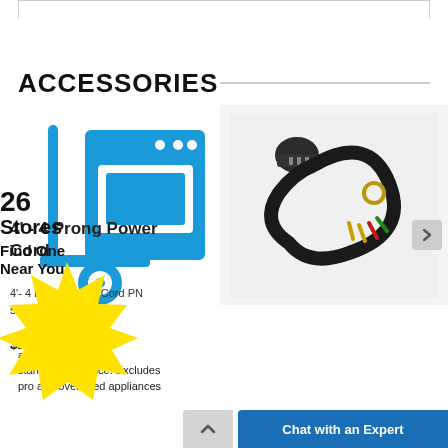ACCESSORIES
[Figure (illustration): Blue icon of an appliance on a hand truck/dolly]
[Figure (infographic): Yellow starburst badge with text '26 Stores / Find One Near You']
away of old free-standing appliance. Excludes pro and oversized appliances
[Figure (photo): Photo of a 4-foot 4-prong power cord, black cable with colored wire ends]
4' - 4 Prong Power Cord
4'- 4 Prong Power Cord PN 5304512984
$25.99
Chat with an Expert